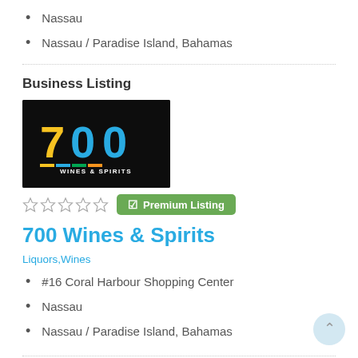Nassau
Nassau / Paradise Island, Bahamas
Business Listing
[Figure (logo): 700 Wines & Spirits business logo on black background with colorful text]
☆☆☆☆☆  Premium Listing
700 Wines & Spirits
Liquors,Wines
#16 Coral Harbour Shopping Center
Nassau
Nassau / Paradise Island, Bahamas